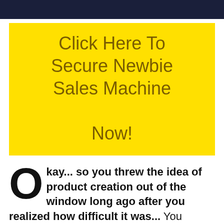[Figure (other): Dark navy blue header bar]
Click Here To Secure Newbie Sales Machine Now!
Okay... so you threw the idea of product creation out of the window long ago after you realized how difficult it was... You turned to 'done for you' solutions and up until now, these products were quite straight forward...